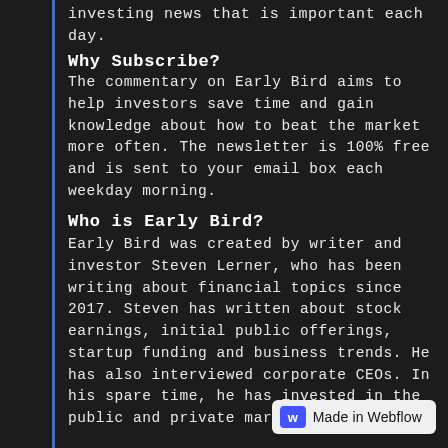investing news that is important each day.
Why Subscribe?
The commentary on Early Bird aims to help investors save time and gain knowledge about how to beat the market more often. The newsletter is 100% free and is sent to your email box each weekday morning.
Who is Early Bird?
Early Bird was created by writer and investor Steven Lerner, who has been writing about financial topics since 2017. Steven has written about stock earnings, initial public offerings, startup funding and business trends. He has also interviewed corporate CEOs. In his spare time, he has invested in the public and private markets.
[Figure (logo): Made in Webflow badge with blue W icon]